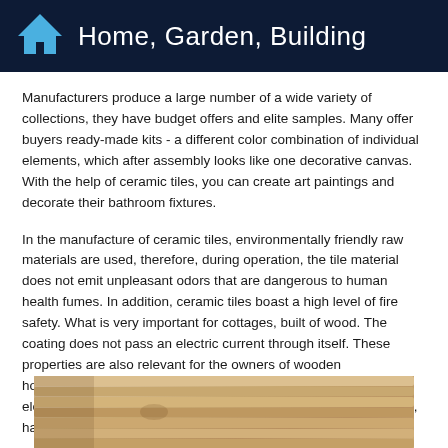Home, Garden, Building
Manufacturers produce a large number of a wide variety of collections, they have budget offers and elite samples. Many offer buyers ready-made kits - a different color combination of individual elements, which after assembly looks like one decorative canvas. With the help of ceramic tiles, you can create art paintings and decorate their bathroom fixtures.
In the manufacture of ceramic tiles, environmentally friendly raw materials are used, therefore, during operation, the tile material does not emit unpleasant odors that are dangerous to human health fumes. In addition, ceramic tiles boast a high level of fire safety. What is very important for cottages, built of wood. The coating does not pass an electric current through itself. These properties are also relevant for the owners of wooden houses.Today, in any bathroom there is always a large set of electrical appliances (hair dryer, electric shaver, washing machine, hair curlers, ironing).
[Figure (photo): Interior photo showing wooden log cabin wall construction with light-colored wood logs and ceiling corner detail]